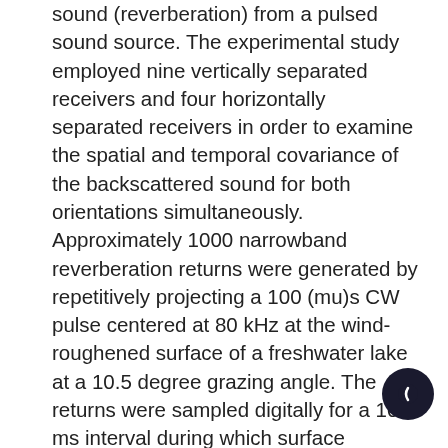sound (reverberation) from a pulsed sound source. The experimental study employed nine vertically separated receivers and four horizontally separated receivers in order to examine the spatial and temporal covariance of the backscattered sound for both orientations simultaneously. Approximately 1000 narrowband reverberation returns were generated by repetitively projecting a 100 (mu)s CW pulse centered at 80 kHz at the wind-roughened surface of a freshwater lake at a 10.5 degree grazing angle. The returns were sampled digitally for a 10 ms interval during which surface reverberation was predominant, and were formed into ensembles at each sample time. Various univariate moments and the time-difference component of the covariance were computed experimentally utilizing ensemble averages. The statistical validity of the ensembles was determined by testing each ensemble for randomness and homogeneity. The ensembles were